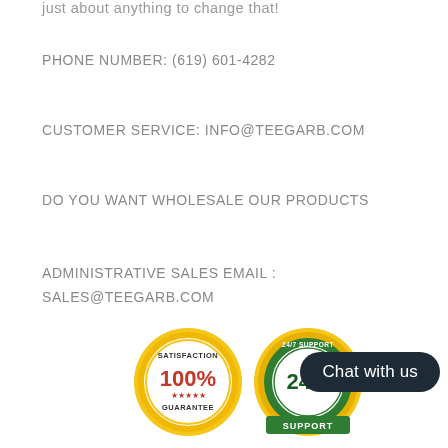just about anything to change that!
PHONE NUMBER: (619) 601-4282
CUSTOMER SERVICE: INFO@TEEGARB.COM
DO YOU WANT WHOLESALE OUR PRODUCTS
ADMINISTRATIVE SALES EMAIL :
SALES@TEEGARB.COM
[Figure (illustration): Two circular badges: a gold 'SATISFACTION 100% GUARANTEE' seal and a green/gold '24/7 SUPPORT' badge, partially visible at bottom of page.]
Chat with us